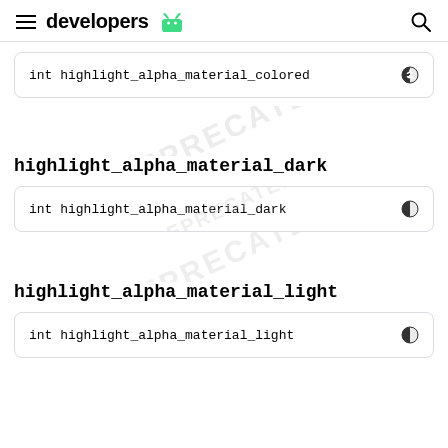developers
int highlight_alpha_material_colored
highlight_alpha_material_dark
int highlight_alpha_material_dark
highlight_alpha_material_light
int highlight_alpha_material_light